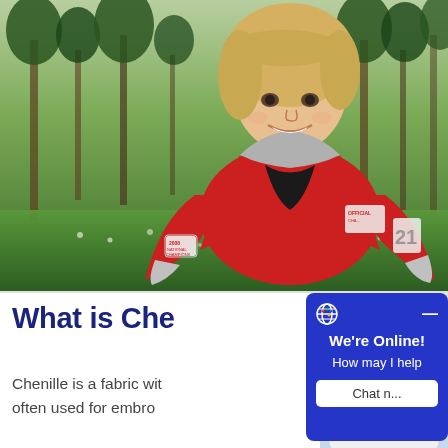[Figure (photo): Young blonde woman wearing a red varsity/letterman jacket with chenille patches, sitting outdoors in a green grassy field with trees in the background, smiling at camera]
What is Che...
Chenille is a fabric wit... often used for embro...
[Figure (photo): Woman wearing headset, customer service representative, smiling]
[Figure (screenshot): Live chat widget with globe icon, minus button, text 'We're Online! How may I help' and a 'Chat n...' button on blue background]